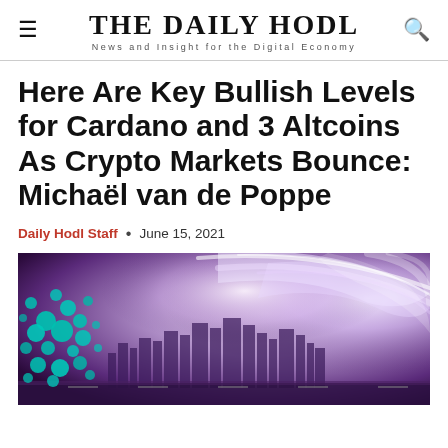THE DAILY HODL — News and Insight for the Digital Economy
Here Are Key Bullish Levels for Cardano and 3 Altcoins As Crypto Markets Bounce: Michaël van de Poppe
Daily Hodl Staff · June 15, 2021
[Figure (photo): Abstract cityscape with purple tones and swirling light trails, overlaid with teal Cardano logo circles on the left side]